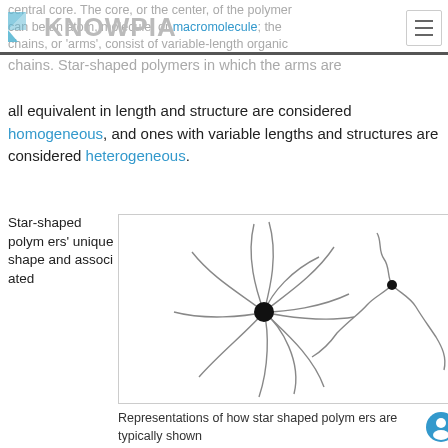central core. The core, or the center, of the polymer can be an atom, molecule, or macromolecule; the chains, or 'arms', consist of variable-length organic chains.
Star-shaped polymers in which the arms are all equivalent in length and structure are considered homogeneous, and ones with variable lengths and structures are considered heterogeneous.
Star-shaped polymers' unique shape and associated
[Figure (illustration): Two illustrations of star-shaped polymers: left shows a many-armed star polymer with curved arms radiating from a central black dot; right shows a 3-armed star polymer with wavy arms and a smaller central dot.]
Representations of how star shaped polymers are typically shown